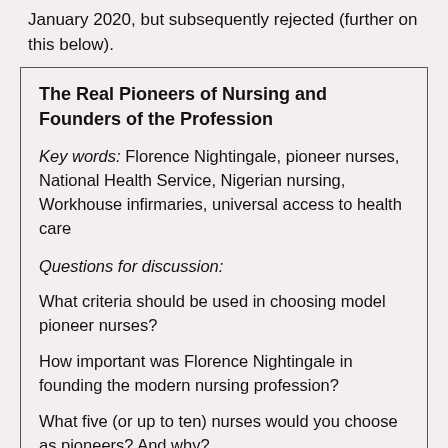January 2020, but subsequently rejected (further on this below).
The Real Pioneers of Nursing and Founders of the Profession
Key words: Florence Nightingale, pioneer nurses, National Health Service, Nigerian nursing, Workhouse infirmaries, universal access to health care
Questions for discussion:
What criteria should be used in choosing model pioneer nurses?
How important was Florence Nightingale in founding the modern nursing profession?
What five (or up to ten) nurses would you choose as pioneers? And why?
Apart from providing direct nursing services, what